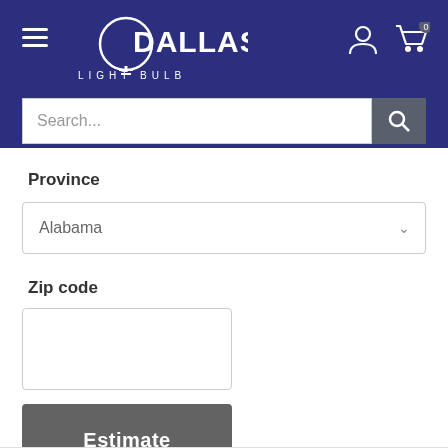[Figure (logo): Dallas Light Bulb logo with hamburger menu, user icon, and cart icon on dark blue header background]
[Figure (screenshot): Search bar with placeholder text 'Search...' and dark search button with magnifying glass icon]
Province
[Figure (screenshot): Dropdown select box showing 'Alabama' with chevron down arrow]
Zip code
[Figure (screenshot): Empty zip code text input box]
[Figure (screenshot): Estimate button, dark gray with white bold text]